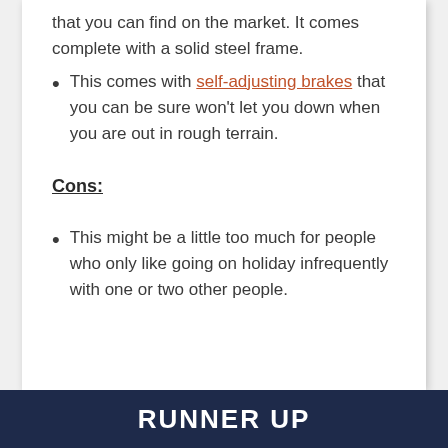that you can find on the market. It comes complete with a solid steel frame.
This comes with self-adjusting brakes that you can be sure won't let you down when you are out in rough terrain.
Cons:
This might be a little too much for people who only like going on holiday infrequently with one or two other people.
RUNNER UP